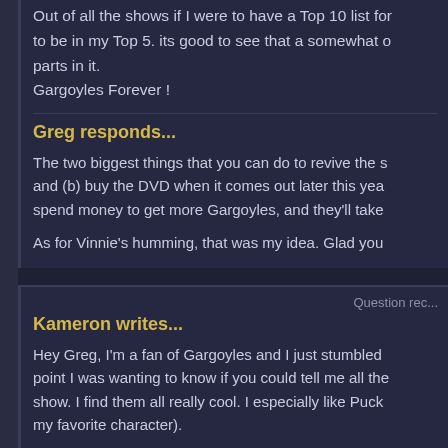Out of all the shows if I were to have a Top 10 list for... to be in my Top 5. its good to see that a somewhat o... parts in it.
Gargoyles Forever !
Greg responds...
The two biggest things that you can do to revive the s... and (b) buy the DVD when it comes out later this yea... spend money to get more Gargoyles, and they'll take...
As for Vinnie's humming, that was my idea. Glad you...
Question rec...
Kameron writes...
Hey Greg, I'm a fan of Gargoyles and I just stumbled... point I was wanting to know if you could tell me all the... show. I find them all really cool. I especially like Puck... my favorite character).